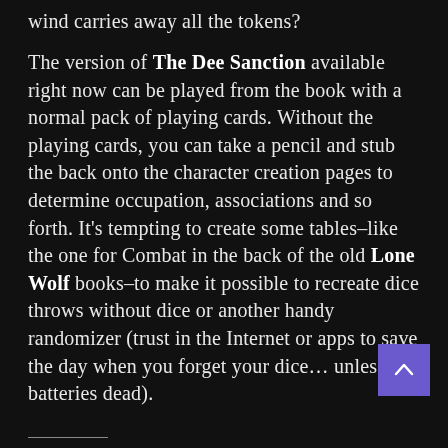wind carries away all the tokens?
The version of The Dee Sanction available right now can be played from the book with a normal pack of playing cards. Without the playing cards, you can take a pencil and stub the back onto the character creation pages to determine occupation, associations and so forth. It's tempting to create some tables–like the one for Combat in the back of the old Lone Wolf books–to make it possible to recreate dice throws without dice or another handy randomizer (trust in the Internet or apps to save the day when you forget your dice… unless the batteries dead).